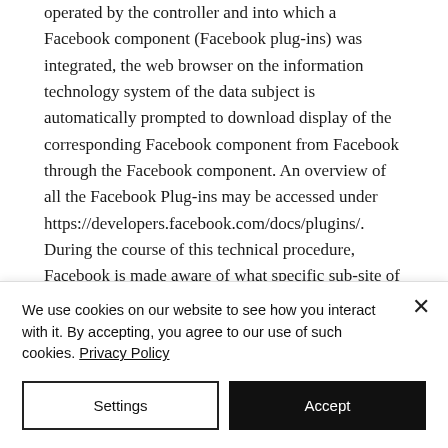operated by the controller and into which a Facebook component (Facebook plug-ins) was integrated, the web browser on the information technology system of the data subject is automatically prompted to download display of the corresponding Facebook component from Facebook through the Facebook component. An overview of all the Facebook Plug-ins may be accessed under https://developers.facebook.com/docs/plugins/. During the course of this technical procedure, Facebook is made aware of what specific sub-site of our website
We use cookies on our website to see how you interact with it. By accepting, you agree to our use of such cookies. Privacy Policy
Settings
Accept